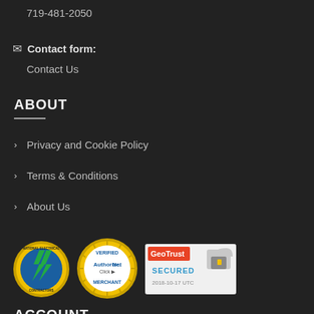719-481-2050
Contact form:
Contact Us
ABOUT
Privacy and Cookie Policy
Terms & Conditions
About Us
[Figure (logo): Three trust/security badge logos: NWCA circular emblem with lightning bolt, Authorize.Net Verified Merchant seal, and GeoTrust Secured padlock badge dated 2018-10-17 UTC]
ACCOUNT